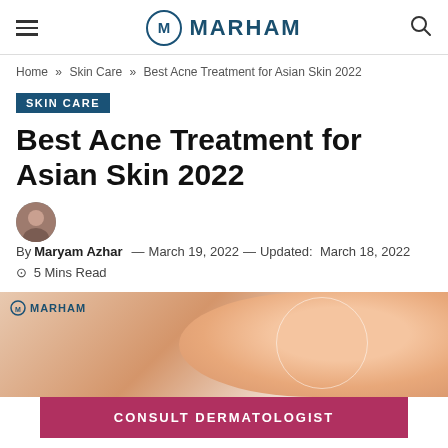MARHAM
Home » Skin Care » Best Acne Treatment for Asian Skin 2022
SKIN CARE
Best Acne Treatment for Asian Skin 2022
By Maryam Azhar — March 19, 2022 — Updated: March 18, 2022  5 Mins Read
[Figure (photo): Close-up of Asian skin with acne, branded with Marham logo overlay]
CONSULT DERMATOLOGIST